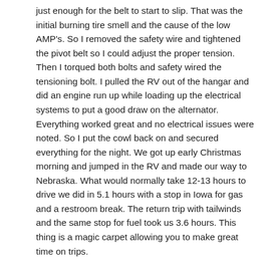just enough for the belt to start to slip. That was the initial burning tire smell and the cause of the low AMP's. So I removed the safety wire and tightened the pivot belt so I could adjust the proper tension. Then I torqued both bolts and safety wired the tensioning bolt. I pulled the RV out of the hangar and did an engine run up while loading up the electrical systems to put a good draw on the alternator. Everything worked great and no electrical issues were noted. So I put the cowl back on and secured everything for the night. We got up early Christmas morning and jumped in the RV and made our way to Nebraska. What would normally take 12-13 hours to drive we did in 5.1 hours with a stop in Iowa for gas and a restroom break. The return trip with tailwinds and the same stop for fuel took us 3.6 hours. This thing is a magic carpet allowing you to make great time on trips.